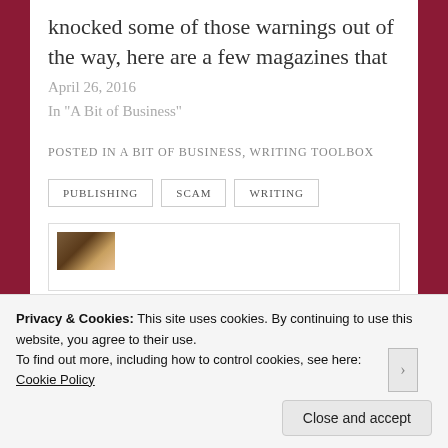knocked some of those warnings out of the way, here are a few magazines that
April 26, 2016
In "A Bit of Business"
POSTED IN A BIT OF BUSINESS, WRITING TOOLBOX
PUBLISHING
SCAM
WRITING
[Figure (photo): Small thumbnail image of a person or article preview]
Privacy & Cookies: This site uses cookies. By continuing to use this website, you agree to their use.
To find out more, including how to control cookies, see here: Cookie Policy
Close and accept